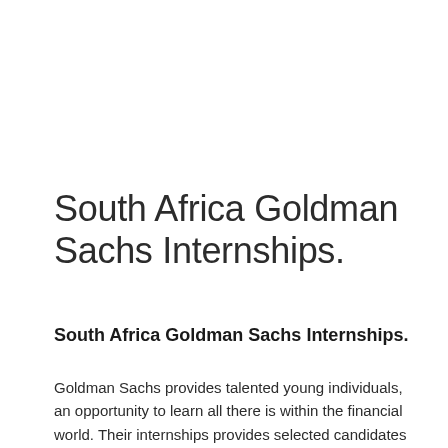South Africa Goldman Sachs Internships.
South Africa Goldman Sachs Internships.
Goldman Sachs provides talented young individuals, an opportunity to learn all there is within the financial world. Their internships provides selected candidates mentoring, hands-on experience and the knowledge of experts in the industry. This does not mean you will only learn from standing...